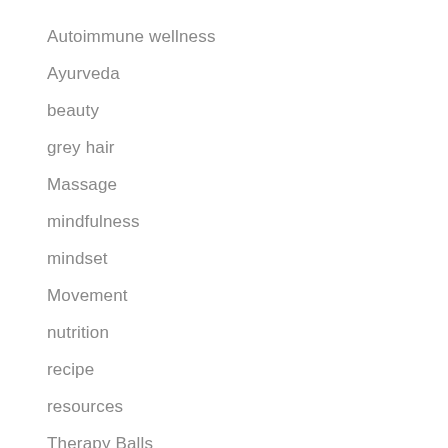Autoimmune wellness
Ayurveda
beauty
grey hair
Massage
mindfulness
mindset
Movement
nutrition
recipe
resources
Therapy Balls
Uncategorized